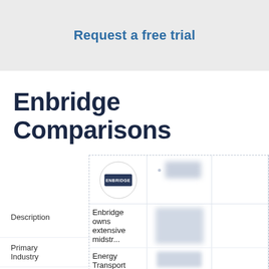Request a free trial
Enbridge Comparisons
|  | Enbridge | (blurred) |
| --- | --- | --- |
| Description | Enbridge owns extensive midstr... | (blurred) |
| Primary Industry | Energy Transport | (blurred) |
| HQ Location | Calgar... | Calgar... |
| Employees | (truncated) | (truncated) |